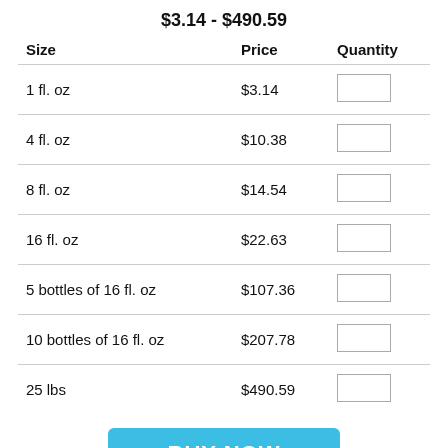$3.14 - $490.59
| Size | Price | Quantity |
| --- | --- | --- |
| 1 fl. oz | $3.14 |  |
| 4 fl. oz | $10.38 |  |
| 8 fl. oz | $14.54 |  |
| 16 fl. oz | $22.63 |  |
| 5 bottles of 16 fl. oz | $107.36 |  |
| 10 bottles of 16 fl. oz | $207.78 |  |
| 25 lbs | $490.59 |  |
BUY NOW
DESCRIPTION
Golden Sunshine Fragrance Oil